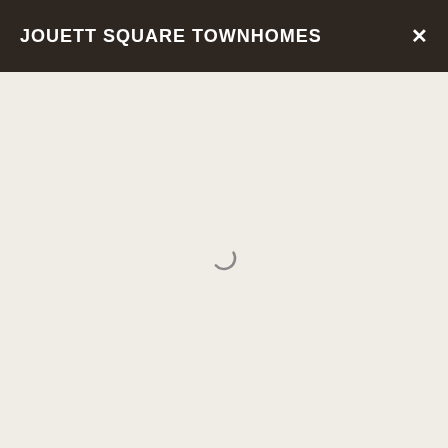JOUETT SQUARE TOWNHOMES
[Figure (other): Loading spinner (circular arc indicator) centered in the content area below the header bar]